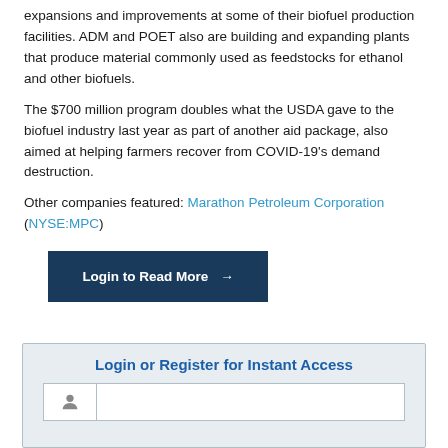expansions and improvements at some of their biofuel production facilities. ADM and POET also are building and expanding plants that produce material commonly used as feedstocks for ethanol and other biofuels.
The $700 million program doubles what the USDA gave to the biofuel industry last year as part of another aid package, also aimed at helping farmers recover from COVID-19's demand destruction.
Other companies featured: Marathon Petroleum Corporation (NYSE:MPC)
Login to Read More →
Login or Register for Instant Access